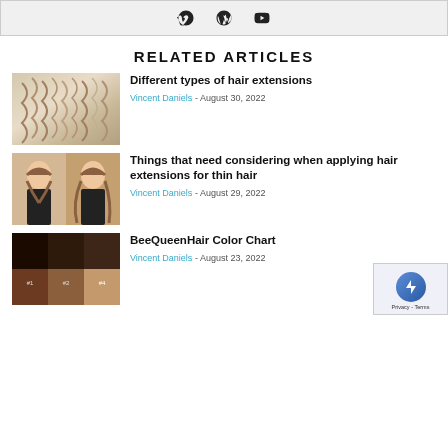[Figure (other): Social media icons (Vimeo, WordPress, YouTube) in a light gray banner bar]
RELATED ARTICLES
[Figure (photo): Photo of blonde hair extensions being applied to hair]
Different types of hair extensions
Vincent Daniels - August 30, 2022
[Figure (photo): Before and after photo of a woman with hair extensions, showing shorter and longer hair]
Things that need considering when applying hair extensions for thin hair
Vincent Daniels - August 29, 2022
[Figure (photo): Grid of hair extension color swatches showing various shades from dark to light brown]
BeeQueenHair Color Chart
Vincent Daniels - August 23, 2022